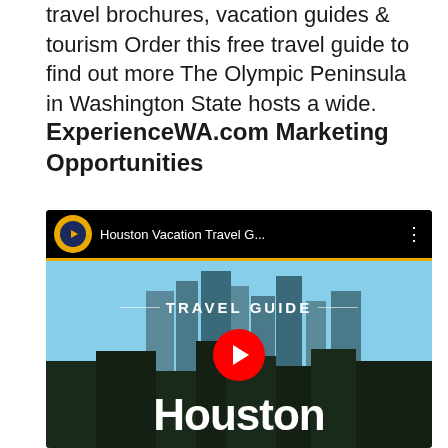travel brochures, vacation guides & tourism Order this free travel guide to find out more The Olympic Peninsula in Washington State hosts a wide.
ExperienceWA.com Marketing Opportunities
[Figure (screenshot): YouTube video thumbnail for 'Houston Vacation Travel G...' showing a city skyline with the text 'TRAVEL GUIDE' and 'Houston' overlaid, with a red YouTube play button in the center.]